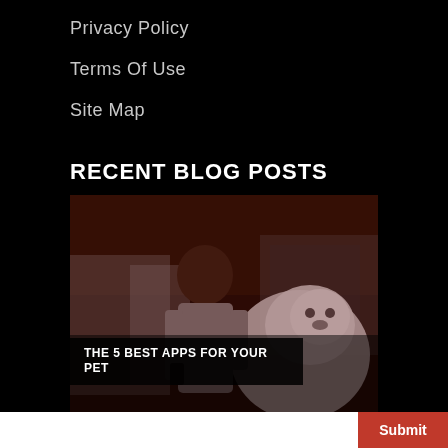Privacy Policy
Terms Of Use
Site Map
RECENT BLOG POSTS
[Figure (photo): Man with white fluffy dog beside a car, with a dark overlay tint. Text overlay reads: THE 5 BEST APPS FOR YOUR PET]
THE 5 BEST APPS FOR YOUR PET